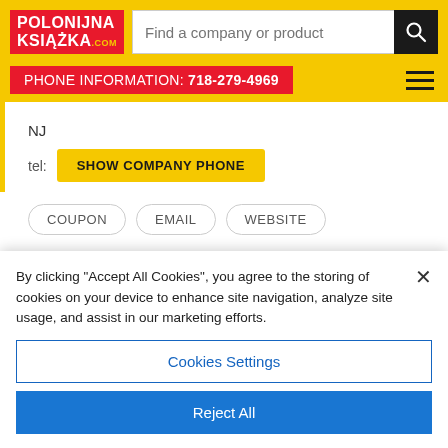POLONIJNA KSIĄŻKA.com — Find a company or product — PHONE INFORMATION: 718-279-4969
NJ
tel: SHOW COMPANY PHONE
COUPON
EMAIL
WEBSITE
By clicking "Accept All Cookies", you agree to the storing of cookies on your device to enhance site navigation, analyze site usage, and assist in our marketing efforts.
Cookies Settings
Reject All